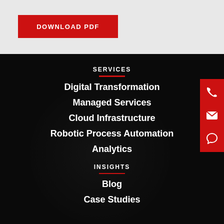DOWNLOAD PDF
SERVICES
Digital Transformation
Managed Services
Cloud Infrastructure
Robotic Process Automation
Analytics
INSIGHTS
Blog
Case Studies